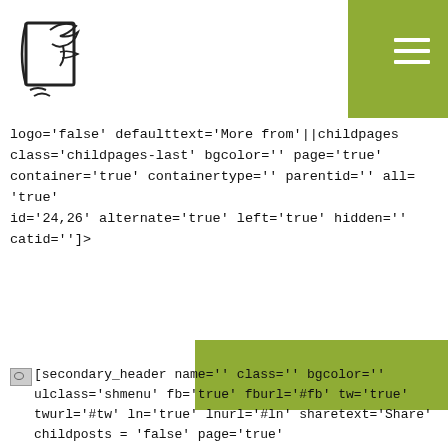[Figure (logo): Parag's library logo — stylized book/bird outline illustration in black on white]
logo='false' defaulttext='More from'||childpages class='childpages-last' bgcolor='' page='true' container='true' containertype='' parentid='' all='true' id='24,26' alternate='true' left='true' hidden='' catid='']>
[Figure (other): Olive/yellow-green horizontal bar spanning right portion of page]
[secondary_header name='' class='' bgcolor='' ulclass='shmenu' fb='true' fburl='#fb' tw='true' twurl='#tw' ln='true' lnurl='#ln' sharetext='Share' childposts = 'false' onlycontent='true' page='true' showmenu='false' showsocial='true' containertype=''] [content class='' container='true' container-type=''] Parag's Library Educators' Course (LEC) imagines the library as an open and vibrant space, where children build a relationship with books and reading. LEC